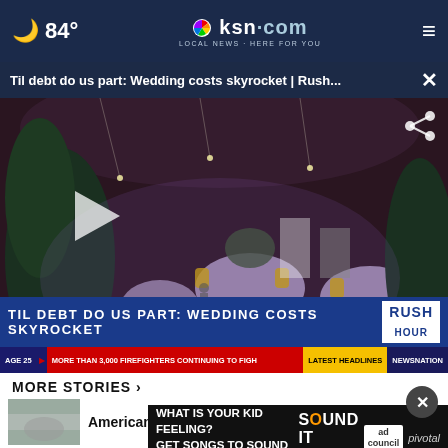84° ksn.com LOCAL NEWS · HERE FOR YOU
Til debt do us part: Wedding costs skyrocket | Rush...
[Figure (screenshot): Video thumbnail showing a wedding reception hall decorated with lights and greenery, tables set for dinner. Lower third reads: TIL DEBT DO US PART: WEDDING COSTS SKYROCKET with Rush Hour logo. Ticker: AGE 25 | MORE THAN 3,000 FIREFIGHTERS CONTINUING TO FIGHT | LATEST HEADLINES | NEWSNATION]
MORE STORIES >
American, 34, reportedly kille...
[Figure (screenshot): Ad banner: WHAT IS YOUR KID FEELING? GET SONGS TO SOUND IT OUT. with Sound It Out logo, Ad Council logo, and Pivotal branding]